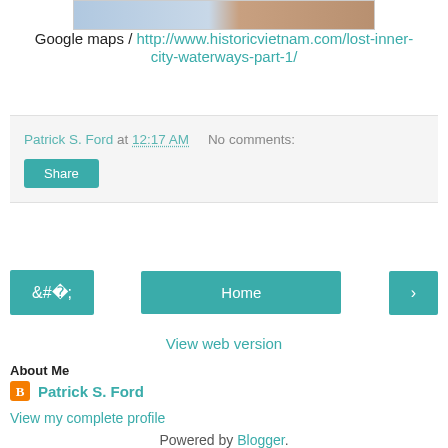[Figure (photo): Partial map/aerial image showing city waterways, split between map view and satellite/historical photo view]
Google maps / http://www.historicvietnam.com/lost-inner-city-waterways-part-1/
Patrick S. Ford at 12:17 AM   No comments:
Share
‹  Home  ›
View web version
About Me
Patrick S. Ford
View my complete profile
Powered by Blogger.